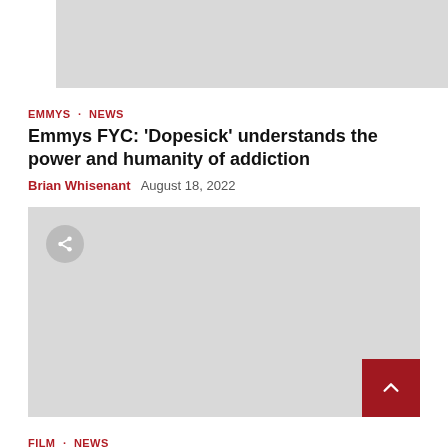[Figure (photo): Gray placeholder image at top of page (partial, cropped)]
EMMYS · NEWS
Emmys FYC: 'Dopesick' understands the power and humanity of addiction
Brian Whisenant   August 18, 2022
[Figure (photo): Gray placeholder image with share button overlay and scroll-to-top button in bottom right corner]
FILM · NEWS
Directorial debuts from Sidney Poitier and the